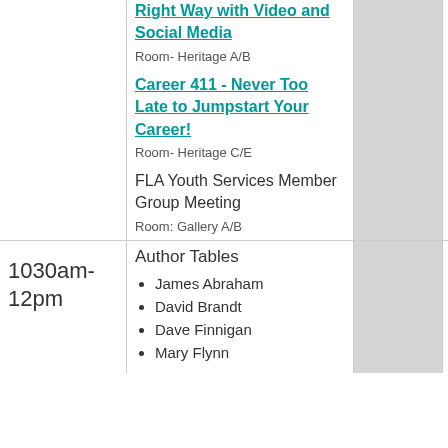| Time | Events |  |  |
| --- | --- | --- | --- |
|  | Right Way with Video and Social Media
Room- Heritage A/B

Career 411 - Never Too Late to Jumpstart Your Career!
Room- Heritage C/E

FLA Youth Services Member Group Meeting
Room: Gallery A/B |  | FLA Youth Services Member Group Meeting
Meeting... |
| 1030am-12pm | Author Tables
• James Abraham
• David Brandt
• Dave Finnigan
• Mary Flynn |  |  |